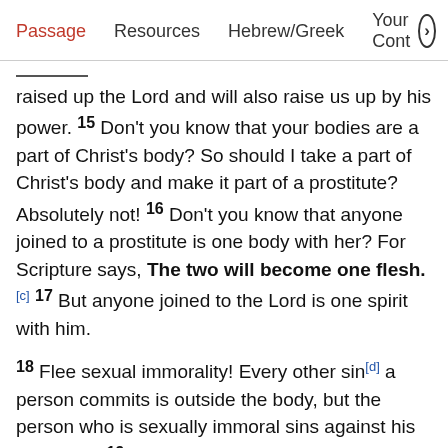Passage | Resources | Hebrew/Greek | Your Cont >
raised up the Lord and will also raise us up by his power. 15 Don't you know that your bodies are a part of Christ's body? So should I take a part of Christ's body and make it part of a prostitute? Absolutely not! 16 Don't you know that anyone joined to a prostitute is one body with her? For Scripture says, The two will become one flesh. [c] 17 But anyone joined to the Lord is one spirit with him. 18 Flee sexual immorality! Every other sin[d] a person commits is outside the body, but the person who is sexually immoral sins against his own body. 19 Don't you know that your body is a temple of the Holy Spirit who is in you, whom you have from God? You are not your own, 20 for you were bought at a price. So glorify God with your